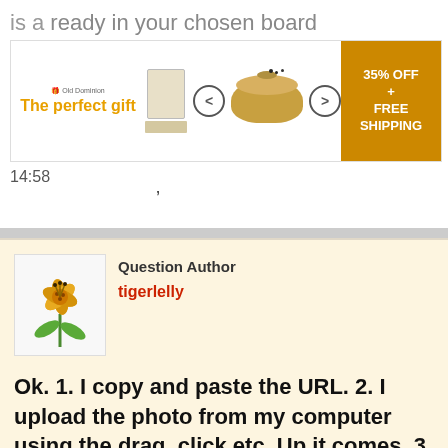[Figure (screenshot): Browser address bar showing partial URL text 'is a...' with a timestamp of 14:58 and an advertisement banner for 'The perfect gift' showing oatmeal/grain products with '35% OFF + FREE SHIPPING']
Question Author
tigerlelly
Ok. 1. I copy and paste the URL. 2. I upload the photo from my computer using the drag, click etc. Up it comes. 3. I write a description. 4. It all goes pear-shaped as the 'done' button isn't active. I tried upload pin but that didn't work either.